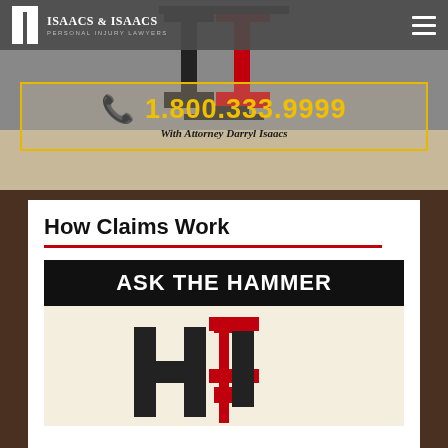[Figure (logo): Isaacs & Isaacs Personal Injury Lawyers logo with hammer icon in black and red]
ISAACS & ISAACS
PERSONAL INJURY LAWYERS
📞 1.800.333.9999
With Attorney Darryl Isaacs
How Claims Work
[Figure (logo): Ask The Hammer logo banner with black background and white bold text, with stylized H logo below in black and red]